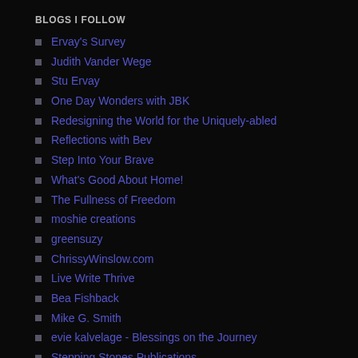BLOGS I FOLLOW
Ervay's Survey
Judith Vander Wege
Stu Ervay
One Day Wonders with JBK
Redesigning the World for the Uniquely-abled
Reflections with Bev
Step Into Your Brave
What's Good About Home!
The Fullness of Freedom
moshie creations
greensuzy
ChrissyWinslow.com
Live Write Thrive
Bea Fishback
Mike G. Smith
evie kalvelage - Blessings on the Journey
Stepping Stones Publications
Lipreading Mom
Jane M Tucker
twenty-four/seven
RSS – POSTS & COMMENTS